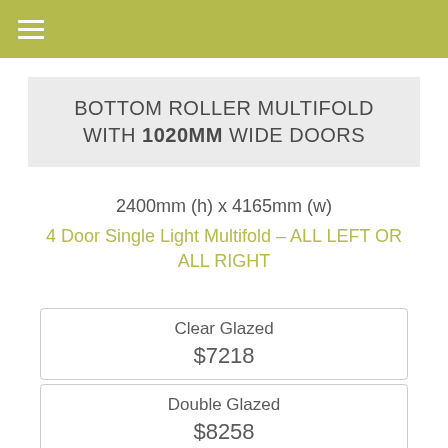BOTTOM ROLLER MULTIFOLD WITH 1020MM WIDE DOORS
2400mm (h) x 4165mm (w)
4 Door Single Light Multifold – ALL LEFT OR ALL RIGHT
| Type | Price |
| --- | --- |
| Clear Glazed | $7218 |
| Double Glazed | $8258 |